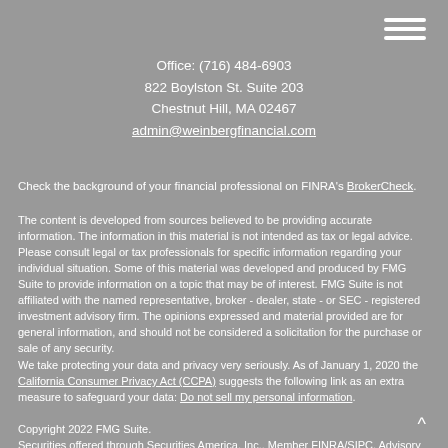[Figure (other): Hamburger menu icon (three horizontal white lines) in upper right corner]
Office: (716) 484-6903
822 Boylston St. Suite 203
Chestnut Hill, MA 02467
admin@weinbergfinancial.com
Check the background of your financial professional on FINRA's BrokerCheck.
The content is developed from sources believed to be providing accurate information. The information in this material is not intended as tax or legal advice. Please consult legal or tax professionals for specific information regarding your individual situation. Some of this material was developed and produced by FMG Suite to provide information on a topic that may be of interest. FMG Suite is not affiliated with the named representative, broker - dealer, state - or SEC - registered investment advisory firm. The opinions expressed and material provided are for general information, and should not be considered a solicitation for the purchase or sale of any security.
We take protecting your data and privacy very seriously. As of January 1, 2020 the California Consumer Privacy Act (CCPA) suggests the following link as an extra measure to safeguard your data: Do not sell my personal information.
Copyright 2022 FMG Suite.
Securities offered through Securities America, Inc., Member FINRA/SIPC. Advisory